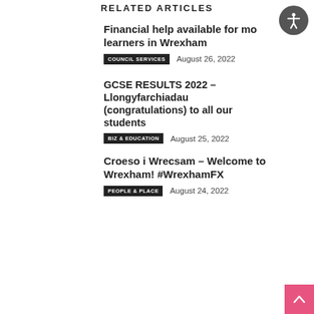RELATED ARTICLES
Financial help available for more learners in Wrexham
COUNCIL SERVICES   August 26, 2022
GCSE RESULTS 2022 – Llongyfarchiadau (congratulations) to all our students
BIZ & EDUCATION   August 25, 2022
Croeso i Wrecsam – Welcome to Wrexham! #WrexhamFX
PEOPLE & PLACE   August 24, 2022